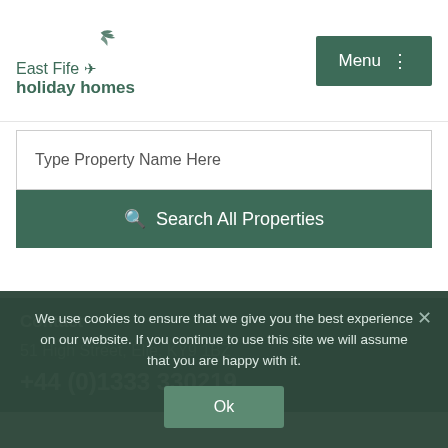[Figure (logo): East Fife Holiday Homes logo with bird illustration and text]
Menu ⋮
Type Property Name Here
🔍 Search All Properties
Contact
51 High Street, Elie, KY9 1BZ
+44 (0)1333 330219
We use cookies to ensure that we give you the best experience on our website. If you continue to use this site we will assume that you are happy with it.
Ok